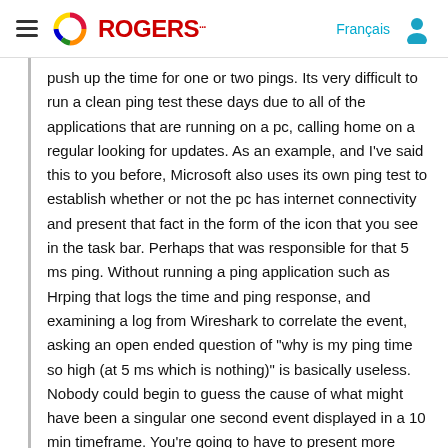Rogers logo header with hamburger menu, Français link, and user icon
push up the time for one or two pings.  Its very difficult to run a clean ping test these days due to all of the applications that are running on a pc, calling home on a regular looking for updates.  As an example, and I've said this to you before, Microsoft also uses its own ping test to establish whether or not the pc has internet connectivity and present that fact in the form of the icon that you see in the task bar.  Perhaps that was responsible for that 5 ms ping.  Without running a ping application such as Hrping that logs the time and ping response, and examining a log from Wireshark to correlate the event, asking an open ended question of "why is my ping time so high (at 5 ms which is nothing)" is basically useless.  Nobody could begin to guess the cause of what might have been a singular one second event displayed in a 10 min timeframe.  You're going to have to present more